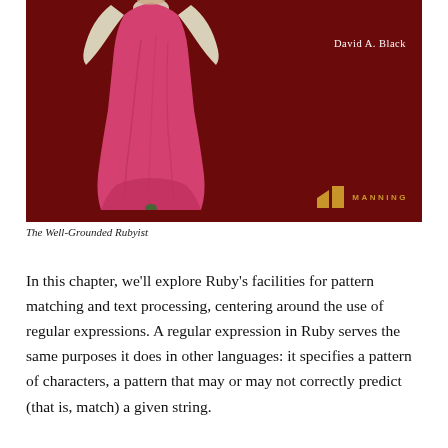[Figure (illustration): Book cover of 'The Well-Grounded Rubyist' by David A. Black, published by Manning. Dark red/maroon background with an illustration of a woman in a flowing pink/rose dress and cream-colored sleeves. The Manning logo (two gold blocks with the word MANNING) appears in the bottom right of the cover. Author name 'David A. Black' appears in white text in the upper right.]
The Well-Grounded Rubyist
In this chapter, we'll explore Ruby's facilities for pattern matching and text processing, centering around the use of regular expressions. A regular expression in Ruby serves the same purposes it does in other languages: it specifies a pattern of characters, a pattern that may or may not correctly predict (that is, match) a given string.